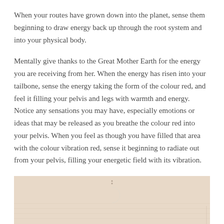When your routes have grown down into the planet, sense them beginning to draw energy back up through the root system and into your physical body.
Mentally give thanks to the Great Mother Earth for the energy you are receiving from her. When the energy has risen into your tailbone, sense the energy taking the form of the colour red, and feel it filling your pelvis and legs with warmth and energy. Notice any sensations you may have, especially emotions or ideas that may be released as you breathe the colour red into your pelvis. When you feel as though you have filled that area with the colour vibration red, sense it beginning to radiate out from your pelvis, filling your energetic field with its vibration.
[Figure (illustration): Illustration on a warm beige/tan background showing a white crescent moon symbol near the top center, with faint horizontal lines suggesting a textured surface below.]